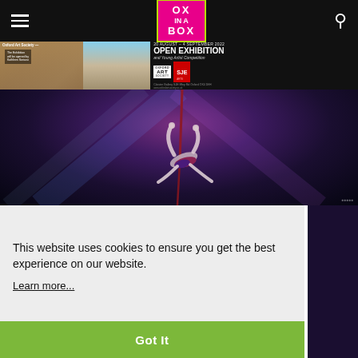OX IN A BOX
[Figure (photo): Oxford Art Society Open Exhibition banner ad: 20 August – 4 September 2022, Open Exhibition and Young Artist Competition, Cloister Gallery SJE Iffley Rd Oxford OX4 1EH, www.oxfordartsociety.co.uk]
[Figure (photo): Performer doing aerial acrobatics with red silk/rope against a dark purple and blue stage lighting background]
This website uses cookies to ensure you get the best experience on our website.
Learn more...
Got It